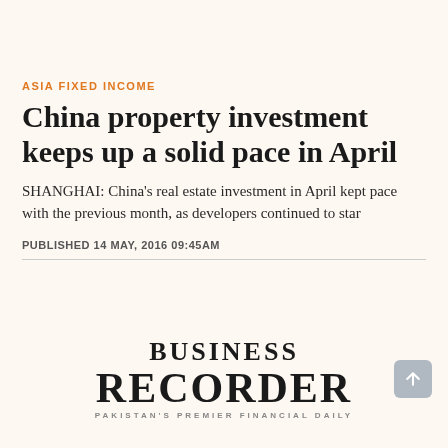ASIA FIXED INCOME
China property investment keeps up a solid pace in April
SHANGHAI: China's real estate investment in April kept pace with the previous month, as developers continued to star
PUBLISHED 14 MAY, 2016 09:45AM
[Figure (logo): Business Recorder - Pakistan's Premier Financial Daily logo]